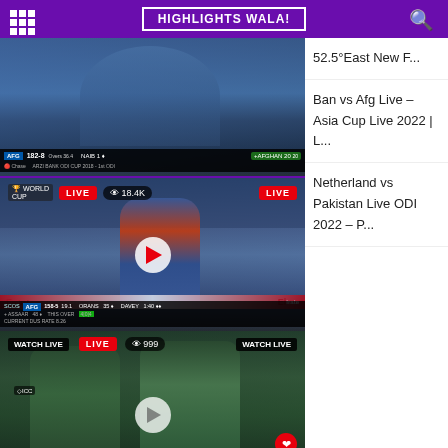HIGHLIGHTS WALA!
[Figure (screenshot): Cricket match screenshot - Afghanistan batting, scoreboard showing AFG 182-8, NAIB 1, +AFGHAN 20, ARZI BANK ODI CUP 2018 - 1st ODI]
[Figure (screenshot): Live cricket stream - Ban vs Afg, LIVE badge, 18.4K viewers, AFG 158-5 19.1, Afghanistan batsman walking, Emirates advertising boards]
Ban vs Afg Live – Asia Cup Live 2022 | L...
[Figure (screenshot): Live cricket stream - Pakistan batting, WATCH LIVE badges, 999 viewers, Pakistan players with bat and helmet]
Netherland vs Pakistan Live ODI 2022 – P...
52.5°East New F...